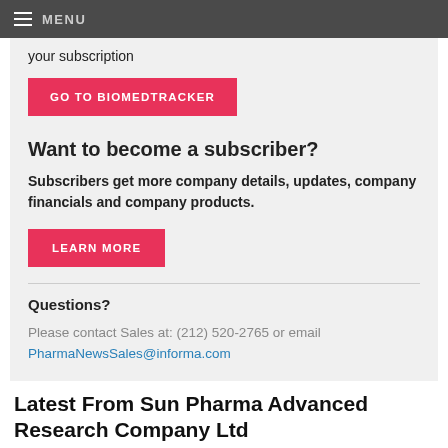MENU
your subscription
GO TO BIOMEDTRACKER
Want to become a subscriber?
Subscribers get more company details, updates, company financials and company products.
LEARN MORE
Questions?
Please contact Sales at: (212) 520-2765 or email PharmaNewsSales@informa.com
Latest From Sun Pharma Advanced Research Company Ltd